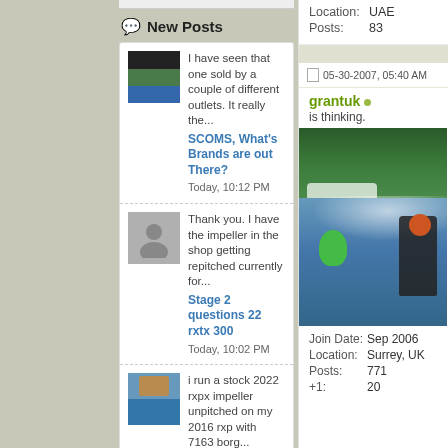Location: UAE
Posts: 83
New Posts
I have seen that one sold by a couple of different outlets. It really the... | SCOMS, What's Brands are out There? | Today, 10:12 PM
Thank you. I have the impeller in the shop getting repitched currently for... | Stage 2 questions 22 rxtx 300 | Today, 10:02 PM
i run a stock 2022 rxpx impeller unpitched on my 2016 rxp with 7163 borg... | Turbo Project with low boost 18-19... | Today, 09:42 PM
My flywheel is aluminum & very light. Bought it new from Lacys power... | Turbo Project with low boost 18-19
05-30-2007, 05:40 AM
grantuk
is thinking.
[Figure (photo): User photo of grantuk showing a jet ski racer on water with spray, green buoy visible]
Join Date: Sep 2006
Location: Surrey, UK
Posts: 771
+1: 20